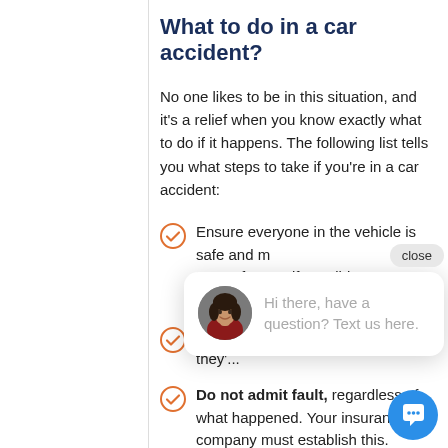What to do in a car accident?
No one likes to be in this situation, and it's a relief when you know exactly what to do if it happens. The following list tells you what steps to take if you're in a car accident:
Ensure everyone in the vehicle is safe and move to a safe area if possible, help...
Check on the other driver and passengers to see if they're...
Do not admit fault, regardless of what happened. Your insurance company must establish this.
Write down the names and addresses...
[Figure (screenshot): Chat popup overlay with avatar photo of a woman and text 'Hi there, have a question? Text us here.' with a close button and a blue chat bubble button in the corner.]